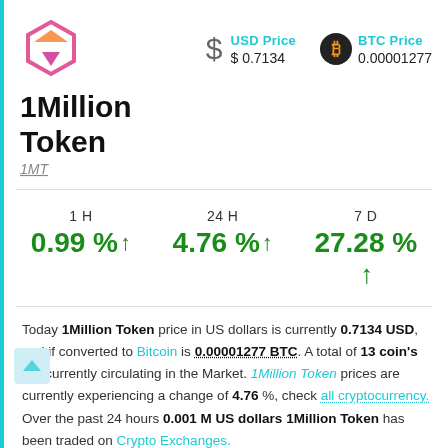[Figure (logo): 1Million Token logo - pink/orange hexagon shape with arrow pointing down]
USD Price $0.7134
BTC Price 0.00001277
1Million Token
1MT
1 H 0.99 % ↑   24 H 4.76 % ↑   7 D 27.28 % ↑
Today 1Million Token price in US dollars is currently 0.7134 USD, and if converted to Bitcoin is 0.00001277 BTC. A total of 13 coin's are currently circulating in the Market. 1Million Token prices are currently experiencing a change of 4.76 %, check all cryptocurrency. Over the past 24 hours 0.001 M US dollars 1Million Token has been traded on Crypto Exchanges.